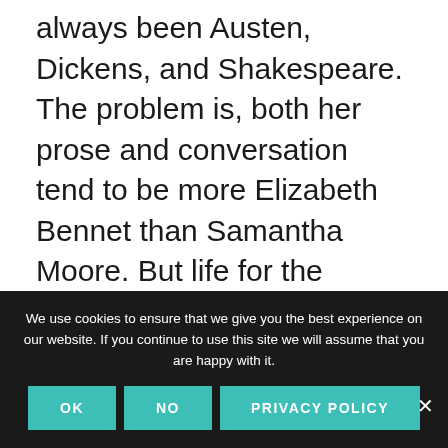always been Austen, Dickens, and Shakespeare. The problem is, both her prose and conversation tend to be more Elizabeth Bennet than Samantha Moore. But life for the twenty-three-year-old orphan is about to get stranger than fiction. An anonymous, Dickensian benefactor (calling himself Mr. Knightley) offers to put Sam through Northwestern University's prestigious Medill School of
We use cookies to ensure that we give you the best experience on our website. If you continue to use this site we will assume that you are happy with it.
OK
NO
PRIVACY POLICY